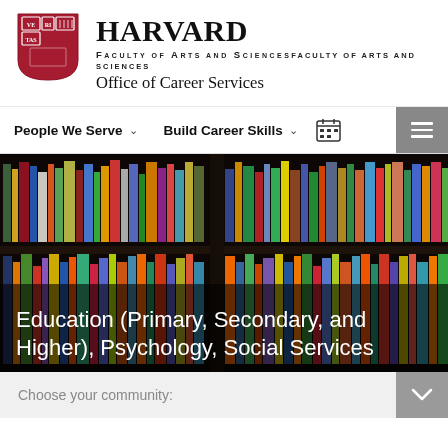[Figure (logo): Harvard shield logo with VERITAS text, red background with open books]
HARVARD Faculty of Arts and Sciences Office of Career Services
People We Serve  ∨    Build Career Skills  ∨   📅  ≡
[Figure (photo): Bookshelf with colorful books arranged on dark wooden shelves]
Education (Primary, Secondary, and Higher), Psychology, Social Services
Choose your community: